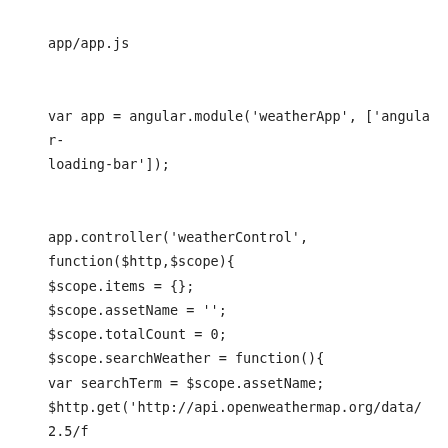app/app.js

var app = angular.module('weatherApp', ['angular-loading-bar']);


app.controller('weatherControl',
function($http,$scope){
$scope.items = {};
$scope.assetName = '';
$scope.totalCount = 0;
$scope.searchWeather = function(){
var searchTerm = $scope.assetName;
$http.get('http://api.openweathermap.org/data/2.5/find?
q='+searchTerm+'&type=like&sort=population&cnt=30&units=metric&APPID=73136fa514890c15bc4534e7b8a1c0c4'